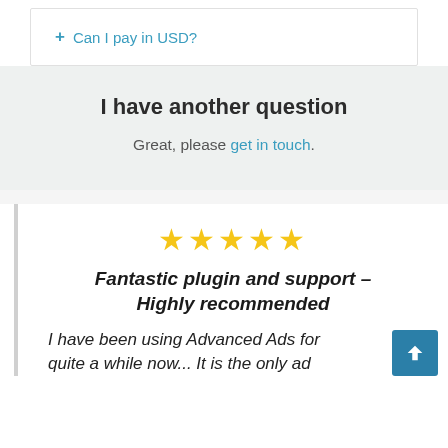+ Can I pay in USD?
I have another question
Great, please get in touch.
[Figure (other): Five gold star rating icons]
Fantastic plugin and support – Highly recommended
I have been using Advanced Ads for quite a while now... It is the only ad